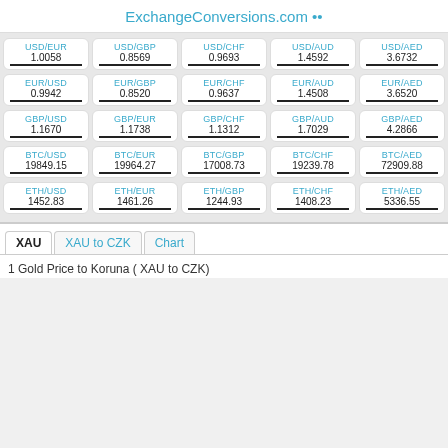ExchangeConversions.com
| USD/EUR | USD/GBP | USD/CHF | USD/AUD | USD/AED |
| --- | --- | --- | --- | --- |
| 1.0058 | 0.8569 | 0.9693 | 1.4592 | 3.6732 |
| EUR/USD | EUR/GBP | EUR/CHF | EUR/AUD | EUR/AED |
| 0.9942 | 0.8520 | 0.9637 | 1.4508 | 3.6520 |
| GBP/USD | GBP/EUR | GBP/CHF | GBP/AUD | GBP/AED |
| 1.1670 | 1.1738 | 1.1312 | 1.7029 | 4.2866 |
| BTC/USD | BTC/EUR | BTC/GBP | BTC/CHF | BTC/AED |
| 19849.15 | 19964.27 | 17008.73 | 19239.78 | 72909.88 |
| ETH/USD | ETH/EUR | ETH/GBP | ETH/CHF | ETH/AED |
| 1452.83 | 1461.26 | 1244.93 | 1408.23 | 5336.55 |
XAU   XAU to CZK   Chart
1 Gold Price to Koruna ( XAU to CZK)